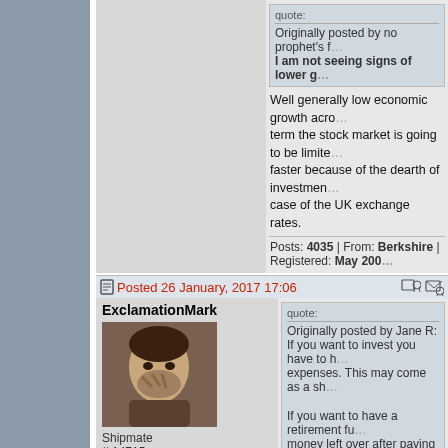quote:
Originally posted by no prophet's f... | I am not seeing signs of lower g...
Well generally low economic growth acro... term the stock market is going to be limite... faster because of the dearth of investmen... case of the UK exchange rates.
Posts: 4035 | From: Berkshire | Registered: May 200...
ExclamationMark
Posted 26 January, 2017 17:06
[Figure (photo): User avatar photo of ExclamationMark showing a person with hand on face]
Shipmate
# 14715
quote:
Originally posted by Jane R:
If you want to invest you have to h... expenses. This may come as a sh...
If you want to have a retirement fu... money left over after paying your l...
Depends what you mean by "living expen...
I'd rather not drink, eat out, buy lots of stu... wages, some - by their habits - use their...
Posts: 3845 | From: A new Jerusalem | Registered: J...
Sinech